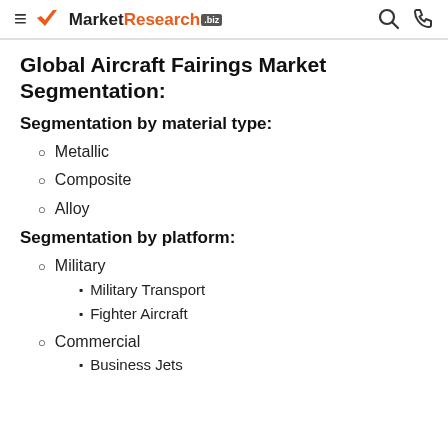MarketResearch.biz
Global Aircraft Fairings Market Segmentation:
Segmentation by material type:
Metallic
Composite
Alloy
Segmentation by platform:
Military
Military Transport
Fighter Aircraft
Commercial
Business Jets